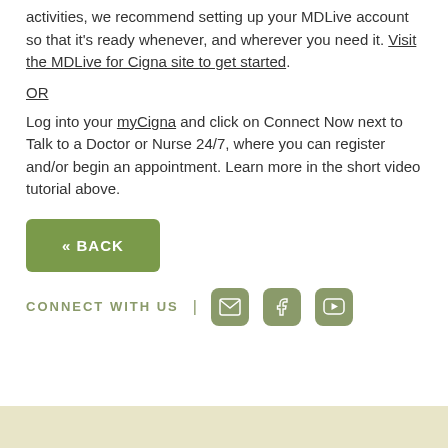activities, we recommend setting up your MDLive account so that it's ready whenever, and wherever you need it. Visit the MDLive for Cigna site to get started.
OR
Log into your myCigna and click on Connect Now next to Talk to a Doctor or Nurse 24/7, where you can register and/or begin an appointment. Learn more in the short video tutorial above.
[Figure (other): Green back button with text « BACK]
CONNECT WITH US | [email icon] [facebook icon] [youtube icon]